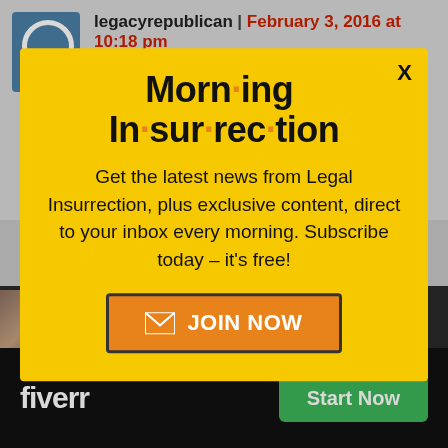legacyrepublican | February 3, 2016 at 10:18 pm
It is comments like this that make me
[Figure (screenshot): Modal popup advertisement for Morning Insurrection newsletter with yellow background, large bold title 'Morn·ing In·sur·rec·tion' with orange dots, subscription text, and orange JOIN NOW button]
Back to Top
[Figure (screenshot): Fiverr advertisement bar at bottom with fiverr logo and green Start Now button]